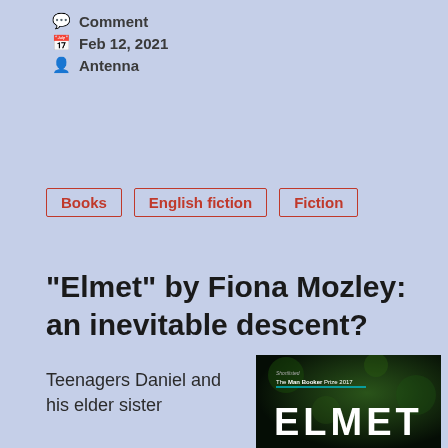Comment
Feb 12, 2021
Antenna
Books   English fiction   Fiction
“Elmet” by Fiona Mozley: an inevitable descent?
Teenagers Daniel and his elder sister
[Figure (photo): Book cover of Elmet by Fiona Mozley, shortlisted for The Man Booker Prize 2017, showing the title ELMET in large white letters on a dark green background]